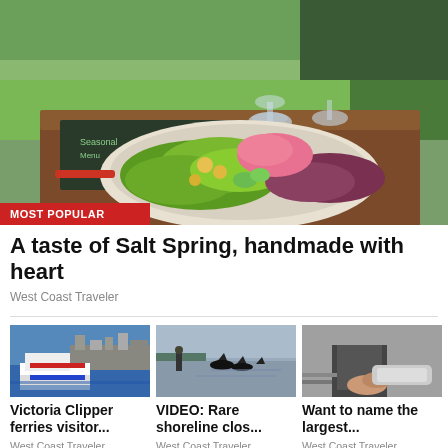[Figure (photo): A salad plate with green leaves, yellow cherry tomatoes, pink pickled onions, and cucumber slices on a wooden tray with wine glasses, green hills in background. Badge: MOST POPULAR]
A taste of Salt Spring, handmade with heart
West Coast Traveler
[Figure (photo): Victoria Clipper ferry on water with city skyline in background]
Victoria Clipper ferries visitor...
West Coast Traveler
[Figure (photo): Person standing at shoreline watching orca whales surfacing in the water]
VIDEO: Rare shoreline clos...
West Coast Traveler
[Figure (photo): Close-up of hands and some equipment or boat part]
Want to name the largest...
West Coast Traveler